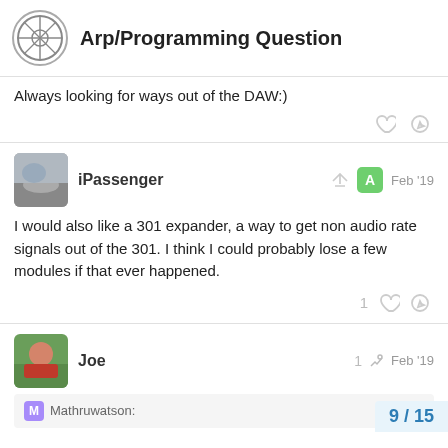Arp/Programming Question
Always looking for ways out of the DAW:)
iPassenger  Feb '19
I would also like a 301 expander, a way to get non audio rate signals out of the 301. I think I could probably lose a few modules if that ever happened.
Joe  1  Feb '19
Mathruwatson:
9 / 15